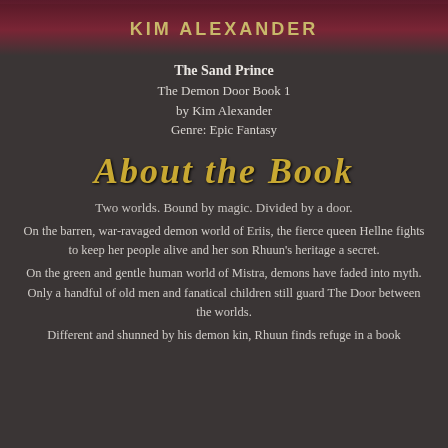[Figure (illustration): Top portion of a book cover showing the author name KIM ALEXANDER in gold uppercase letters on a dark red/maroon background with a partial figure image]
The Sand Prince
The Demon Door Book 1
by Kim Alexander
Genre: Epic Fantasy
About the Book
Two worlds. Bound by magic. Divided by a door.
On the barren, war-ravaged demon world of Eriis, the fierce queen Hellne fights to keep her people alive and her son Rhuun's heritage a secret.
On the green and gentle human world of Mistra, demons have faded into myth. Only a handful of old men and fanatical children still guard The Door between the worlds.
Different and shunned by his demon kin, Rhuun finds refuge in a book